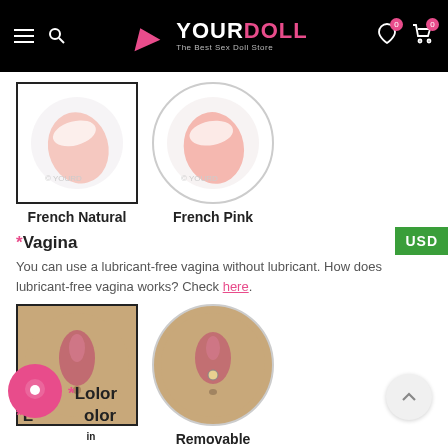YourDoll - The Best Sex Doll Store
[Figure (photo): French Natural nail option - selected with black border]
[Figure (photo): French Pink nail option - circular gray border]
French Natural
French Pink
*Vagina
You can use a lubricant-free vagina without lubricant. How does lubricant-free vagina works? Check here.
[Figure (photo): Built-in vagina option - selected with black border]
[Figure (photo): Removable vagina option - circular gray border]
Built-in
Removable
*Labia Color